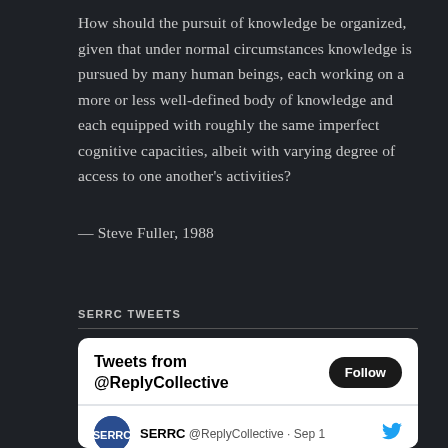How should the pursuit of knowledge be organized, given that under normal circumstances knowledge is pursued by many human beings, each working on a more or less well-defined body of knowledge and each equipped with roughly the same imperfect cognitive capacities, albeit with varying degree of access to one another's activities?
— Steve Fuller, 1988
SERRC TWEETS
[Figure (screenshot): Twitter/X embedded widget showing 'Tweets from @ReplyCollective' with a Follow button and a tweet row showing SERRC @ReplyCollective Sep 1 with Twitter bird icon]